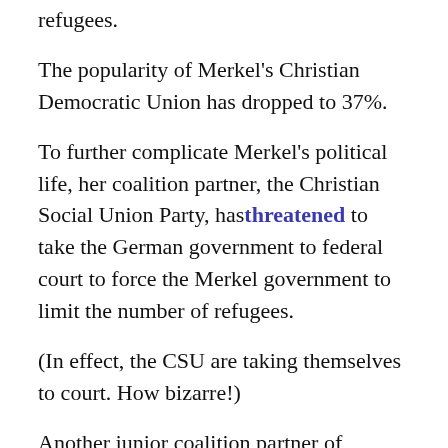refugees.
The popularity of Merkel's Christian Democratic Union has dropped to 37%.
To further complicate Merkel's political life, her coalition partner, the Christian Social Union Party, has threatened to take the German government to federal court to force the Merkel government to limit the number of refugees.
(In effect, the CSU are taking themselves to court. How bizarre!)
Another junior coalition partner of Merkel's government, the Social Democrats, have already broken ranks with Merkel over the refugee matter.
In addition, 40 politicians from Merkel's own party, CDU, have signed a petition calling for the borders to be closed for all asylum seekers.